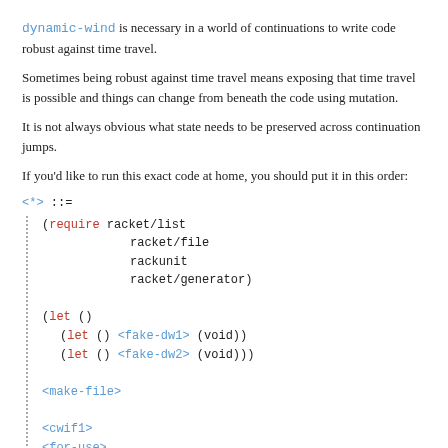dynamic-wind is necessary in a world of continuations to write code robust against time travel.
Sometimes being robust against time travel means exposing that time travel is possible and things can change from beneath the code using mutation.
It is not always obvious what state needs to be preserved across continuation jumps.
If you'd like to run this exact code at home, you should put it in this order:
(require racket/list
         racket/file
         rackunit
         racket/generator)

(let ()
  (let () <fake-dw1> (void))
  (let () <fake-dw2> (void)))

<make-file>

<cwif1>
<for-use>
<loop-use>
<try>